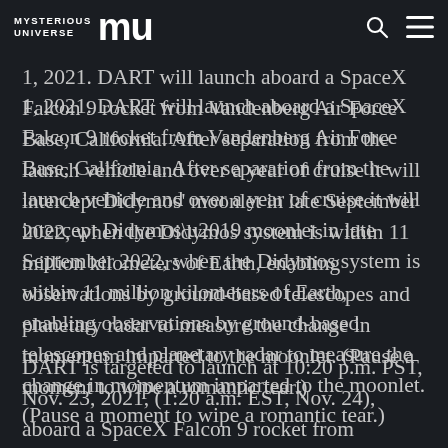MYSTERIOUS UNIVERSE MU [logo with search and menu icons]
The DART spacecraft launch window begins 1, 2021. DART will launch aboard a SpaceX Falcon 9 rocket from Vandenberg Air Force Base, California. After separation from the launch vehicle and over a year of cruise it will intercept Didymos’ moonlet in late September 2022, when the Didymos system is within 11 million kilometers of Earth, enabling observations by ground-based telescopes and planetary radar to measure the change in momentum imparted to the moonlet. (Pause a moment to wipe a romantic tear.)
DART is targeted to launch at 10:20 p.m. PST, Nov. 23, 2021, (1:20 a.m. EST, Nov. 24), aboard a SpaceX Falcon 9 rocket from Vandenberg Space Force